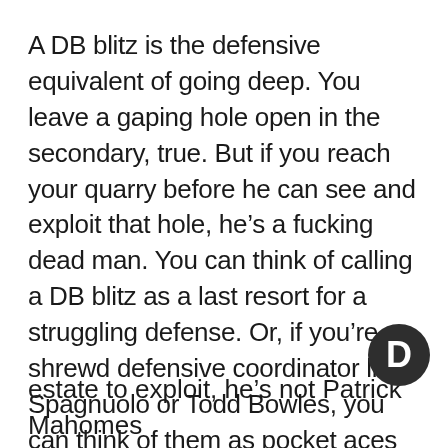A DB blitz is the defensive equivalent of going deep. You leave a gaping hole open in the secondary, true. But if you reach your quarry before he can see and exploit that hole, he’s a fucking dead man. You can think of calling a DB blitz as a last resort for a struggling defense. Or, if you’re a shrewd defensive coordinator like Spagnuolo or Todd Bowles, you can think of them as pocket aces to throw on the table in sudden moments to cause havoc or, better than havoc, PARALYSIS.
Because induced paralysis is the only way to stop these two quarterbacks from doing the things that make them who they are. When Tom Brady is under duress, he’s not Tom Brady anymore. When Patrick Mahomes finds him shockingly out of available real estate to exploit, he’s not Patrick Mahomes...